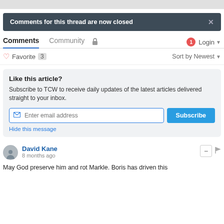Comments for this thread are now closed
Comments  Community  Login
Favorite 3   Sort by Newest
Like this article?
Subscribe to TCW to receive daily updates of the latest articles delivered straight to your inbox.
Enter email address  Subscribe  Hide this message
David Kane
8 months ago
May God preserve him and rot Markle. Boris has driven this